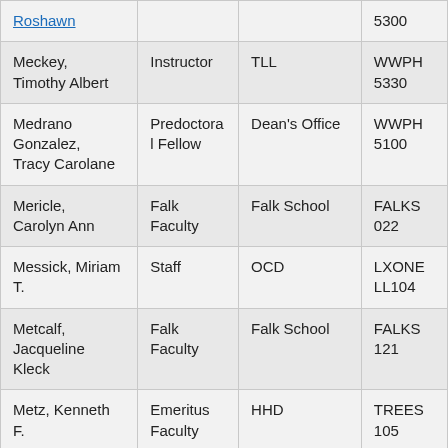| Name | Title | Department | Location |
| --- | --- | --- | --- |
| Roshawn |  |  | 5300 |
| Meckey, Timothy Albert | Instructor | TLL | WWPH 5330 |
| Medrano Gonzalez, Tracy Carolane | Predoctoral Fellow | Dean's Office | WWPH 5100 |
| Mericle, Carolyn Ann | Falk Faculty | Falk School | FALKS 022 |
| Messick, Miriam T. | Staff | OCD | LXONE LL104 |
| Metcalf, Jacqueline Kleck | Falk Faculty | Falk School | FALKS 121 |
| Metz, Kenneth F. | Emeritus Faculty | HHD | TREES 105 |